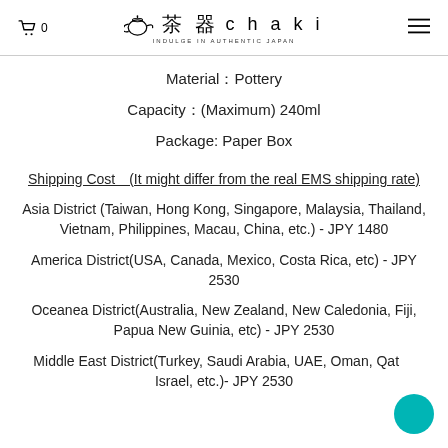🛒0  茶器 chaki INDULGE IN AUTHENTIC JAPAN  ≡
Material：Pottery
Capacity：(Maximum) 240ml
Package:  Paper Box
Shipping Cost　(It might differ from the real EMS shipping rate)
Asia District (Taiwan, Hong Kong, Singapore, Malaysia, Thailand, Vietnam, Philippines, Macau, China, etc.) - JPY 1480
America District(USA, Canada, Mexico, Costa Rica, etc) - JPY 2530
Oceanea District(Australia, New Zealand, New Caledonia, Fiji, Papua New Guinia, etc) - JPY 2530
Middle East District(Turkey, Saudi Arabia, UAE, Oman, Qatar, Israel, etc.)- JPY 2530